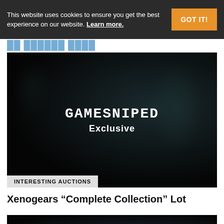This website uses cookies to ensure you get the best experience on our website. Learn more.
GOT IT!
[Figure (screenshot): Dark video thumbnail with GAMESNiPED Exclusive logo overlay and 'INTERESTING AUCTIONS' category label]
INTERESTING AUCTIONS
Xenogears “Complete Collection” Lot
[Figure (screenshot): Dark video thumbnail partially visible at bottom of page with scroll-to-top arrow button]